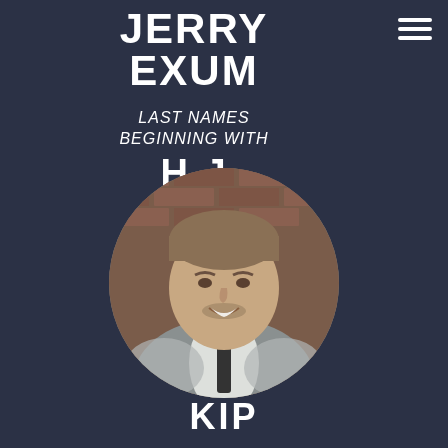JERRY EXUM
LAST NAMES BEGINNING WITH H-J
[Figure (photo): Circular cropped portrait photo of a middle-aged man with gray-brown hair, light stubble, wearing a white shirt and dark tie with a gray jacket, smiling, with a brick wall background.]
KIP